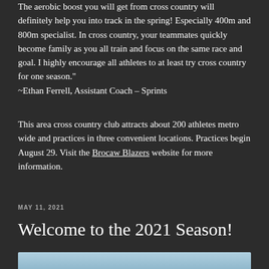The aerobic boost you will get from cross country will definitely help you into track in the spring! Especially 400m and 800m specialist. In cross country, your teammates quickly become family as you all train and focus on the same race and goal. I highly encourage all athletes to at least try cross country for one season." ~Ethan Ferrell, Assistant Coach – Sprints
This area cross country club attracts about 200 athletes metro wide and practices in three convenient locations. Practices begin August 29. Visit the Brocaw Blazers website for more information.
MAY 11, 2021
Welcome to the 2021 Season!
[Figure (photo): Partial view of a photo at the bottom of the page, showing a light blue sky or similar outdoor scene.]